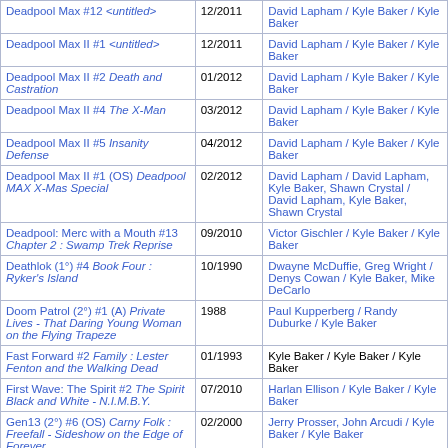| Title | Date | Creators |
| --- | --- | --- |
| Deadpool Max #12 <untitled> | 12/2011 | David Lapham / Kyle Baker / Kyle Baker |
| Deadpool Max II #1 <untitled> | 12/2011 | David Lapham / Kyle Baker / Kyle Baker |
| Deadpool Max II #2 Death and Castration | 01/2012 | David Lapham / Kyle Baker / Kyle Baker |
| Deadpool Max II #4 The X-Man | 03/2012 | David Lapham / Kyle Baker / Kyle Baker |
| Deadpool Max II #5 Insanity Defense | 04/2012 | David Lapham / Kyle Baker / Kyle Baker |
| Deadpool Max II #1 (OS) Deadpool MAX X-Mas Special | 02/2012 | David Lapham / David Lapham, Kyle Baker, Shawn Crystal / David Lapham, Kyle Baker, Shawn Crystal |
| Deadpool: Merc with a Mouth #13 Chapter 2 : Swamp Trek Reprise | 09/2010 | Victor Gischler / Kyle Baker / Kyle Baker |
| Deathlok (1°) #4 Book Four : Ryker's Island | 10/1990 | Dwayne McDuffie, Greg Wright / Denys Cowan / Kyle Baker, Mike DeCarlo |
| Doom Patrol (2°) #1 (A) Private Lives - That Daring Young Woman on the Flying Trapeze | 1988 | Paul Kupperberg / Randy Duburke / Kyle Baker |
| Fast Forward #2 Family : Lester Fenton and the Walking Dead | 01/1993 | Kyle Baker / Kyle Baker / Kyle Baker |
| First Wave: The Spirit #2 The Spirit Black and White - N.I.M.B.Y. | 07/2010 | Harlan Ellison / Kyle Baker / Kyle Baker |
| Gen13 (2°) #6 (OS) Carny Folk : Freefall - Sideshow on the Edge of Forever | 02/2000 | Jerry Prosser, John Arcudi / Kyle Baker / Kyle Baker |
| Haywire #1 Kaleidoscope | 10/1988 | Michael Fleisher / Vincent Giarrano (as Vince Giarrano) / |